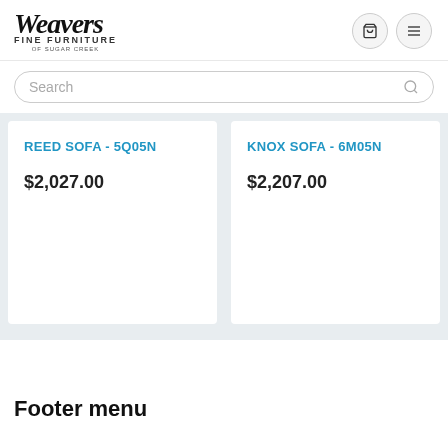[Figure (logo): Weavers Fine Furniture of Sugar Creek logo with script text]
Search
REED SOFA - 5Q05N
$2,027.00
KNOX SOFA - 6M05N
$2,207.00
Footer menu